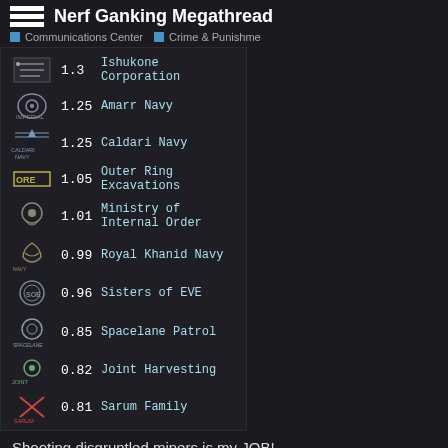Nerf Ganking Megathread
Communications Center  Crime & Punishment
1.3  Ishukone Corporation
1.25  Amarr Navy
1.25  Caldari Navy
1.05  Outer Ring Excavations
1.01  Ministry of Internal Order
0.99  Royal Khanid Navy
0.96  Sisters of EVE
0.85  Spacelane Patrol
0.82  Joint Harvesting
0.81  Sarum Family
Shooting disgruntled miners is my JOB!
Headquarters: Bashakru IV – Ministry of Internal Order Assembly Plant
515 / 7000